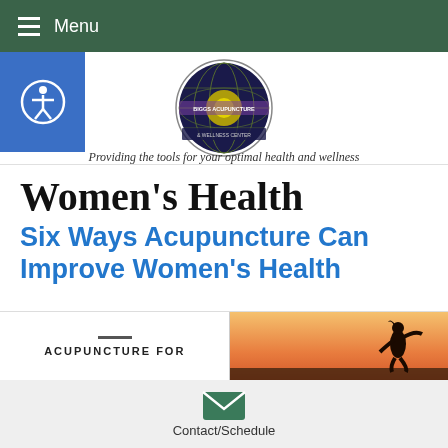Menu
[Figure (logo): Biggs Acupuncture & Wellness Center circular logo with globe design in purple and green]
Providing the tools for your optimal health and wellness
Women's Health
Six Ways Acupuncture Can Improve Women's Health
ACUPUNCTURE FOR
[Figure (photo): Silhouette of a woman jumping joyfully against a warm sunset sky]
Contact/Schedule